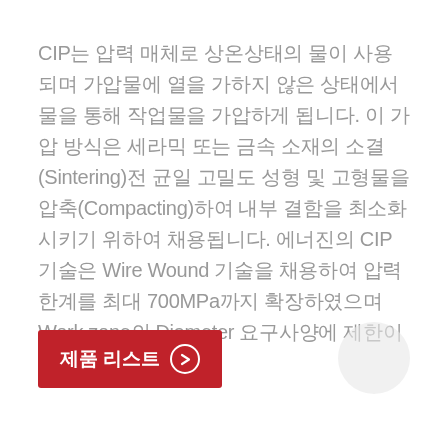CIP는 압력 매체로 상온상태의 물이 사용되며 가압물에 열을 가하지 않은 상태에서 물을 통해 작업물을 가압하게 됩니다. 이 가압 방식은 세라믹 또는 금속 소재의 소결(Sintering)전 균일 고밀도 성형 및 고형물을 압축(Compacting)하여 내부 결함을 최소화시키기 위하여 채용됩니다. 에너진의 CIP 기술은 Wire Wound 기술을 채용하여 압력 한계를 최대 700MPa까지 확장하였으며 Work zone의 Diameter 요구사양에 제한이 없습니다.
제품 리스트